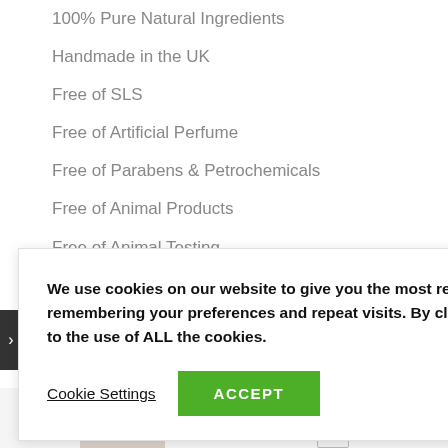100% Pure Natural Ingredients
Handmade in the UK
Free of SLS
Free of Artificial Perfume
Free of Parabens & Petrochemicals
Free of Animal Products
Free of Animal Testing
Faithful to Ayurveda, the 5000 year old Indian holistic approach to health and beauty
We use cookies on our website to give you the most relevant experience by remembering your preferences and repeat visits. By clicking “Accept”, you consent to the use of ALL the cookies.
Cookie Settings   ACCEPT